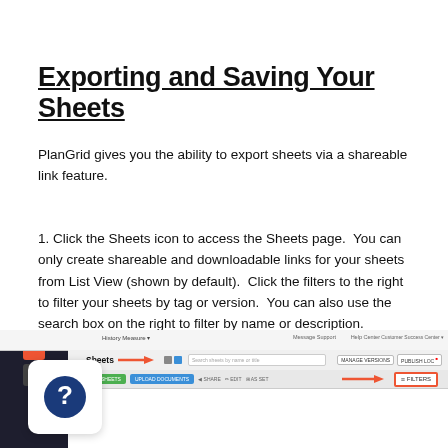Exporting and Saving Your Sheets
PlanGrid gives you the ability to export sheets via a shareable link feature.
1. Click the Sheets icon to access the Sheets page.  You can only create shareable and downloadable links for your sheets from List View (shown by default).  Click the filters to the right to filter your sheets by tag or version.  You can also use the search box on the right to filter by name or description.
[Figure (screenshot): Screenshot of PlanGrid Sheets interface showing the Sheets tab, navigation bar with Message Support, Help Center links, MANAGE VERSIONS and PUBLISH buttons on the right, a FILTERS button highlighted with a red border, and a red arrow pointing to Filter by label. Red arrows indicate the Sheets icon and Filters button.]